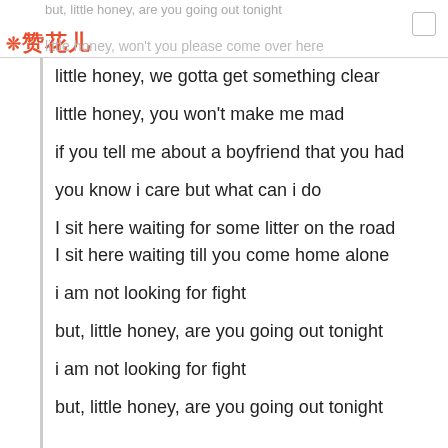but, little honey, are you going out tonight
赞花儿
little honey, won't you please come over here
little honey, we gotta get something clear

little honey, you won't make me mad

if you tell me about a boyfriend that you had

you know i care but what can i do

I sit here waiting for some litter on the road
I sit here waiting till you come home alone

i am not looking for fight

but, little honey, are you going out tonight

i am not looking for fight

but, little honey, are you going out tonight